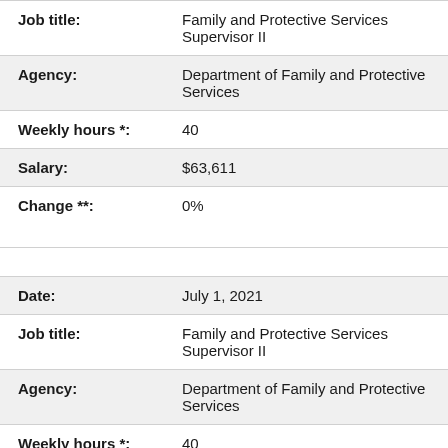| Field | Value |
| --- | --- |
| Job title: | Family and Protective Services Supervisor II |
| Agency: | Department of Family and Protective Services |
| Weekly hours *: | 40 |
| Salary: | $63,611 |
| Change **: | 0% |
| Date: | July 1, 2021 |
| Job title: | Family and Protective Services Supervisor II |
| Agency: | Department of Family and Protective Services |
| Weekly hours *: | 40 |